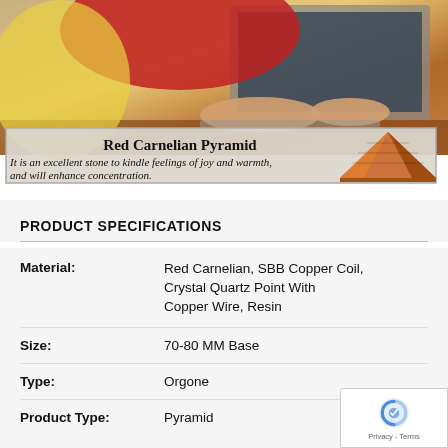[Figure (photo): Person typing on laptop, with product banner overlay showing Red Carnelian Pyramid]
Red Carnelian Pyramid
It is an excellent stone to kindle feelings of joy and warmth, and will enhance concentration.
PRODUCT SPECIFICATIONS
| Attribute | Value |
| --- | --- |
| Material: | Red Carnelian, SBB Copper Coil, Crystal Quartz Point With Copper Wire, Resin |
| Size: | 70-80 MM Base |
| Type: | Orgone |
| Product Type: | Pyramid |